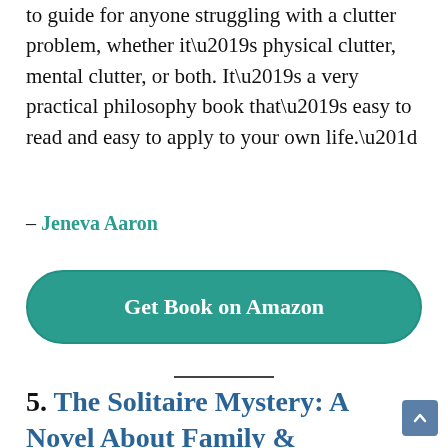to guide for anyone struggling with a clutter problem, whether it’s physical clutter, mental clutter, or both. It’s a very practical philosophy book that’s easy to read and easy to apply to your own life.”
– Jeneva Aaron
Get Book on Amazon
5. The Solitaire Mystery: A Novel About Family & Destiny By Jostein